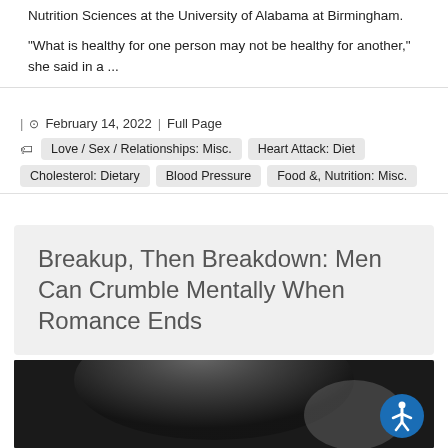Nutrition Sciences at the University of Alabama at Birmingham.

"What is healthy for one person may not be healthy for another," she said in a ...
| February 14, 2022 | Full Page
Love / Sex / Relationships: Misc.
Heart Attack: Diet
Cholesterol: Dietary
Blood Pressure
Food &, Nutrition: Misc.
Breakup, Then Breakdown: Men Can Crumble Mentally When Romance Ends
[Figure (photo): Black and white close-up photo of a young man's face and head, shot from slightly behind/side, dark background]